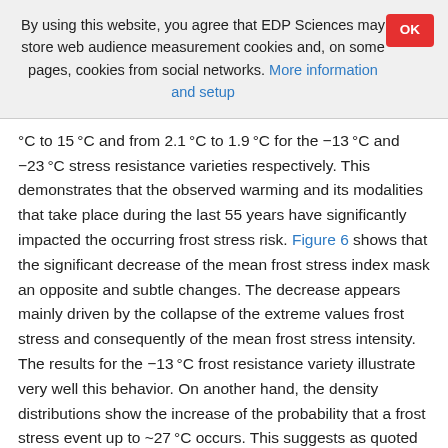By using this website, you agree that EDP Sciences may store web audience measurement cookies and, on some pages, cookies from social networks. More information and setup
°C to 15 °C and from 2.1 °C to 1.9 °C for the −13 °C and −23 °C stress resistance varieties respectively. This demonstrates that the observed warming and its modalities that take place during the last 55 years have significantly impacted the occurring frost stress risk. Figure 6 shows that the significant decrease of the mean frost stress index mask an opposite and subtle changes. The decrease appears mainly driven by the collapse of the extreme values frost stress and consequently of the mean frost stress intensity. The results for the −13 °C frost resistance variety illustrate very well this behavior. On another hand, the density distributions show the increase of the probability that a frost stress event up to ~27 °C occurs. This suggests as quoted by Castel et al. (2014) an increase in the average number of frost stress events with climate